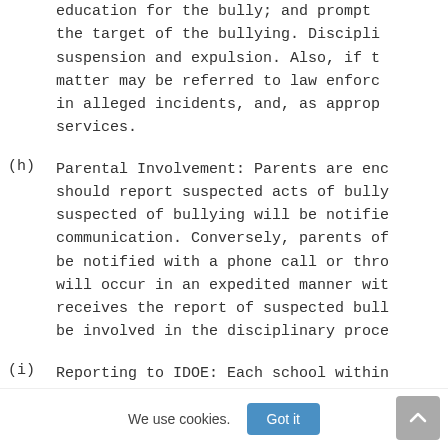education for the bully; and prompt the target of the bullying. Discipli suspension and expulsion. Also, if t matter may be referred to law enforc in alleged incidents, and, as approp services.
(h) Parental Involvement: Parents are enc should report suspected acts of bully suspected of bullying will be notifie communication. Conversely, parents of be notified with a phone call or thro will occur in an expedited manner wit receives the report of suspected bull be involved in the disciplinary proce
(i) Reporting to IDOE: Each school within